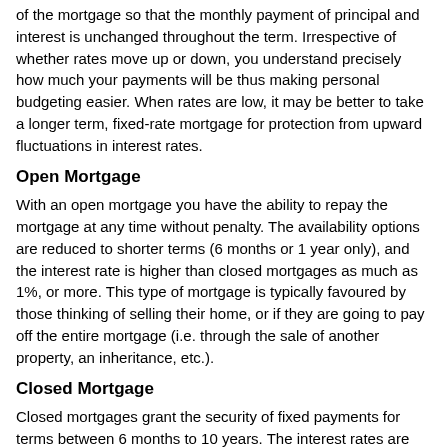of the mortgage so that the monthly payment of principal and interest is unchanged throughout the term. Irrespective of whether rates move up or down, you understand precisely how much your payments will be thus making personal budgeting easier. When rates are low, it may be better to take a longer term, fixed-rate mortgage for protection from upward fluctuations in interest rates.
Open Mortgage
With an open mortgage you have the ability to repay the mortgage at any time without penalty. The availability options are reduced to shorter terms (6 months or 1 year only), and the interest rate is higher than closed mortgages as much as 1%, or more. This type of mortgage is typically favoured by those thinking of selling their home, or if they are going to pay off the entire mortgage (i.e. through the sale of another property, an inheritance, etc.).
Closed Mortgage
Closed mortgages grant the security of fixed payments for terms between 6 months to 10 years. The interest rates are significantly less than open mortgages. They can deliver as much as 20% prepayment of the original principal, which is more than the majority of what people prepay on a yearly basis. However, if you want to pay off the entire mortgage before the maturity, there will be a penalty charge for breaking that mortgage. This penalty is customarily three months interest, or the interest rate differential.
The Adjustable Rate Mortgage (ARM)